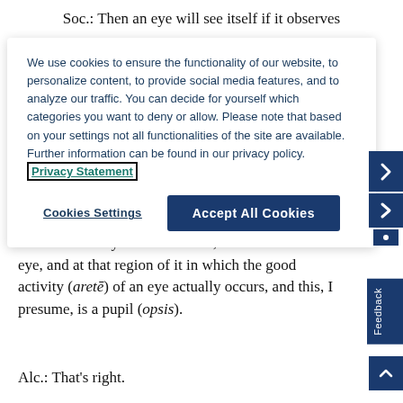Soc.: Then an eye will see itself if it observes
We use cookies to ensure the functionality of our website, to personalize content, to provide social media features, and to analyze our traffic. You can decide for yourself which categories you want to deny or allow. Please note that based on your settings not all functionalities of the site are available. Further information can be found in our privacy policy. Privacy Statement
Cookies Settings | Accept All Cookies
Soc.: So if an eye is to see itself, it must look at an eye, and at that region of it in which the good activity (aretē) of an eye actually occurs, and this, I presume, is a pupil (opsis).
Alc.: That's right.